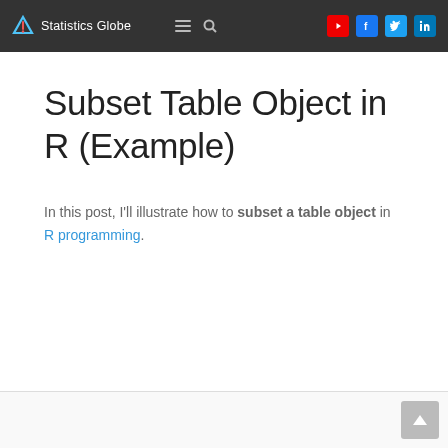Statistics Globe
Subset Table Object in R (Example)
In this post, I'll illustrate how to subset a table object in R programming.